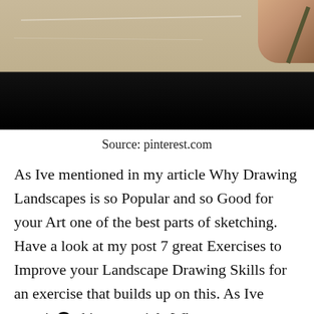[Figure (photo): Partial photo showing a hand holding a pencil over paper with a dark black band across the bottom, suggesting a drawing or sketching scene.]
Source: pinterest.com
As Ive mentioned in my article Why Drawing Landscapes is so Popular and so Good for your Art one of the best parts of sketching. Have a look at my post 7 great Exercises to Improve your Landscape Drawing Skills for an exercise that builds up on this. As Ive mentioned in my article Why